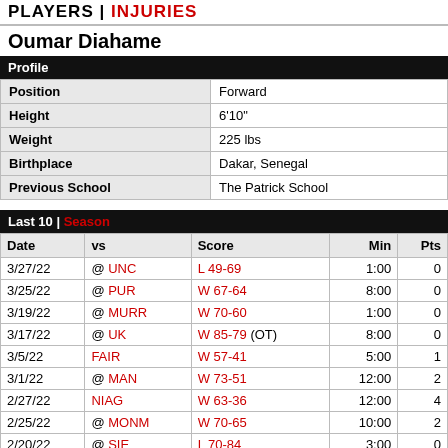PLAYERS | INJURIES
Oumar Diahame
Profile
|  |  |
| --- | --- |
| Position | Forward |
| Height | 6'10" |
| Weight | 225 lbs |
| Birthplace | Dakar, Senegal |
| Previous School | The Patrick School |
Last 10 | Season
| Date | vs | Score | Min | Pts |
| --- | --- | --- | --- | --- |
| 3/27/22 | @ UNC | L 49-69 | 1:00 | 0 |
| 3/25/22 | @ PUR | W 67-64 | 8:00 | 0 |
| 3/19/22 | @ MURR | W 70-60 | 1:00 | 0 |
| 3/17/22 | @ UK | W 85-79 (OT) | 8:00 | 0 |
| 3/5/22 | FAIR | W 57-41 | 5:00 | 1 |
| 3/1/22 | @ MAN | W 73-51 | 12:00 | 2 |
| 2/27/22 | NIAG | W 63-36 | 12:00 | 4 |
| 2/25/22 | @ MONM | W 70-65 | 10:00 | 2 |
| 2/20/22 | @ SIE | L 70-84 | 3:00 | 0 |
| 2/18/22 | @ FAIR | W 70-59 | 10:00 | 4 |
Shooting Statistics